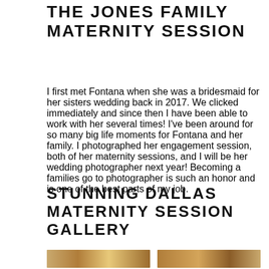THE JONES FAMILY MATERNITY SESSION
I first met Fontana when she was a bridesmaid for her sisters wedding back in 2017. We clicked immediately and since then I have been able to work with her several times! I've been around for so many big life moments for Fontana and her family. I photographed her engagement session, both of her maternity sessions, and I will be her wedding photographer next year! Becoming a families go to photographer is such an honor and is one of the best parts of my job.
STUNNING DALLAS MATERNITY SESSION GALLERY
[Figure (photo): Two photo thumbnails from the Dallas maternity session gallery]